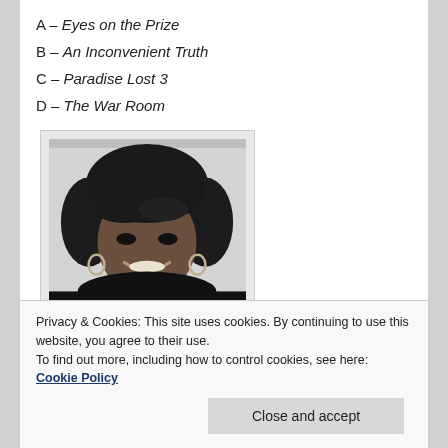A – Eyes on the Prize
B – An Inconvenient Truth
C – Paradise Lost 3
D – The War Room
[Figure (photo): Black and white portrait photograph of a smiling woman with short layered hair and hoop earrings, wearing a dark top]
Privacy & Cookies: This site uses cookies. By continuing to use this website, you agree to their use. To find out more, including how to control cookies, see here: Cookie Policy
B – The Help